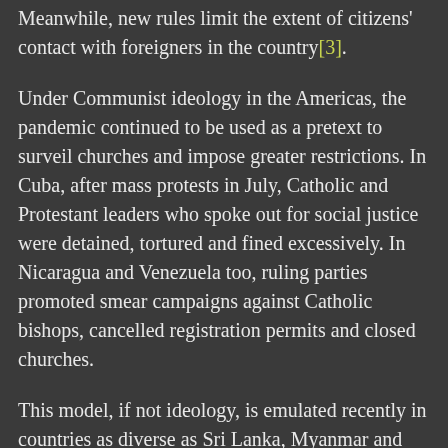Meanwhile, new rules limit the extent of citizens' contact with foreigners in the country[3].
Under Communist ideology in the Americas, the pandemic continued to be used as a pretext to surveil churches and impose greater restrictions. In Cuba, after mass protests in July, Catholic and Protestant leaders who spoke out for social justice were detained, tortured and fined excessively. In Nicaragua and Venezuela too, ruling parties promoted smear campaigns against Catholic bishops, cancelled registration permits and closed churches.
This model, if not ideology, is emulated recently in countries as diverse as Sri Lanka, Myanmar and Malaysia, joining others such as the Central Asian states, all of which have increased restrictions on dissenters from 'One country, one people, one religion'.
Minorities continue to suffer discrimination in